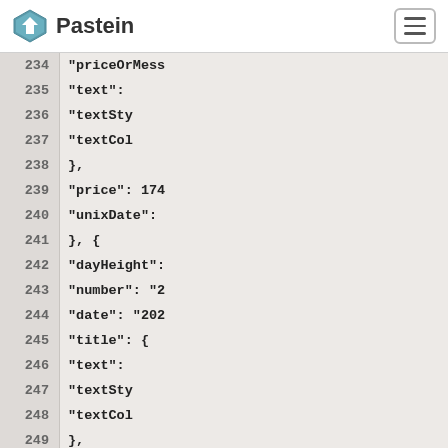Pastein
234  "priceOrMess
235       "text":
236       "textSty
237       "textCol
238  },
239  "price": 174
240  "unixDate":
241           },  {
242       "dayHeight":
243       "number": "2
244       "date": "202
245       "title": {
246            "text":
247            "textSty
248            "textCol
249  },
250  "isSelected"
251  "priceOrMess
252       "text":